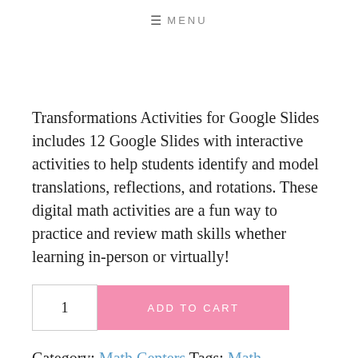≡ MENU
Transformations Activities for Google Slides includes 12 Google Slides with interactive activities to help students identify and model translations, reflections, and rotations. These digital math activities are a fun way to practice and review math skills whether learning in-person or virtually!
1  ADD TO CART
Category: Math Centers  Tags: Math